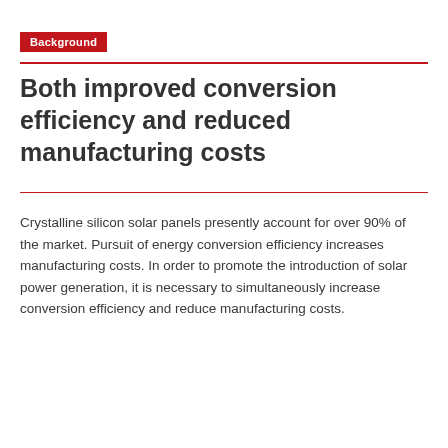Background
Both improved conversion efficiency and reduced manufacturing costs
Crystalline silicon solar panels presently account for over 90% of the market. Pursuit of energy conversion efficiency increases manufacturing costs. In order to promote the introduction of solar power generation, it is necessary to simultaneously increase conversion efficiency and reduce manufacturing costs.